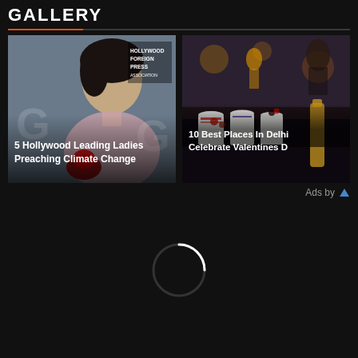GALLERY
[Figure (photo): Gallery card showing a woman at Hollywood Foreign Press Association event with text overlay '5 Hollywood Leading Ladies Preaching Climate Change']
[Figure (photo): Gallery card showing food/restaurant scene with text overlay '10 Best Places In Delhi Celebrate Valentines D...' (truncated)]
Ads by
[Figure (other): Loading spinner circle animation]